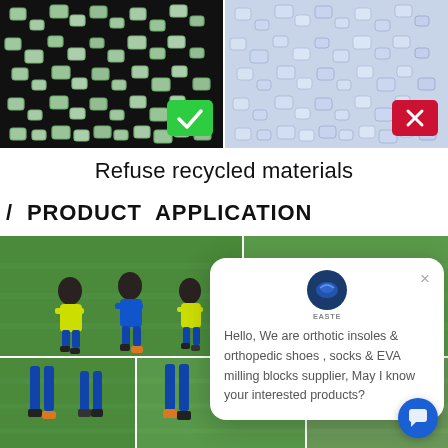[Figure (photo): Two panels showing plastic granules: left panel shows clear/transparent granules on dark background with a green checkmark badge; right panel shows light blue/purple granules with a red X badge]
Refuse recycled materials
/ PRODUCT APPLICATION
[Figure (photo): Product application section showing multiple photos of children and players playing soccer on a green field, wearing sports uniforms with blue socks and green jerseys]
[Figure (screenshot): Chat popup overlay with logo 'EASTE', close button X, and message: Hello, We are orthotic insoles & orthopedic shoes , socks & EVA milling blocks supplier, May I know your interested products?]